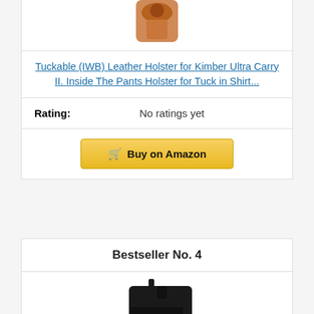[Figure (photo): Partial view of a leather holster product image (cropped at top of page)]
Tuckable (IWB) Leather Holster for Kimber Ultra Carry II. Inside The Pants Holster for Tuck in Shirt...
| Rating: | No ratings yet |
| --- | --- |
Buy on Amazon
Bestseller No. 4
[Figure (photo): Black gun holster product image for Bestseller No. 4]